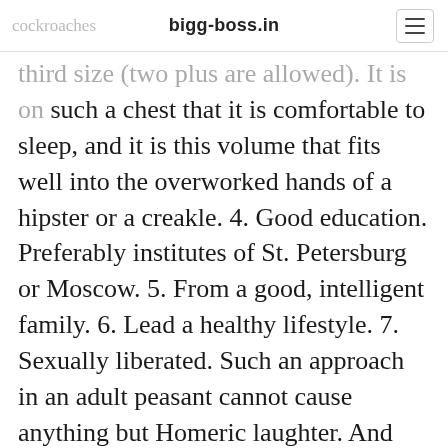bigg-boss.in
third size (two plus are allowed). It is on such a chest that it is comfortable to sleep, and it is this volume that fits well into the overworked hands of a hipster or a creakle. 4. Good education. Preferably institutes of St. Petersburg or Moscow. 5. From a good, intelligent family. 6. Lead a healthy lifestyle. 7. Sexually liberated. Such an approach in an adult peasant cannot cause anything but Homeric laughter. And here's what we came up with in response.